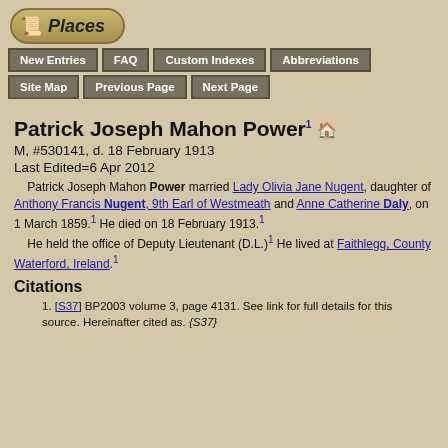[Figure (logo): Places logo with scroll/book icon in rounded rectangle]
New Entries | FAQ | Custom Indexes | Abbreviations | Site Map | Previous Page | Next Page
Patrick Joseph Mahon Power
M, #530141, d. 18 February 1913
Last Edited=6 Apr 2012
Patrick Joseph Mahon Power married Lady Olivia Jane Nugent, daughter of Anthony Francis Nugent, 9th Earl of Westmeath and Anne Catherine Daly, on 1 March 1859. He died on 18 February 1913. He held the office of Deputy Lieutenant (D.L.) He lived at Faithlegg, County Waterford, Ireland.
Citations
[S37] BP2003 volume 3, page 4131. See link for full details for this source. Hereinafter cited as. {S37}